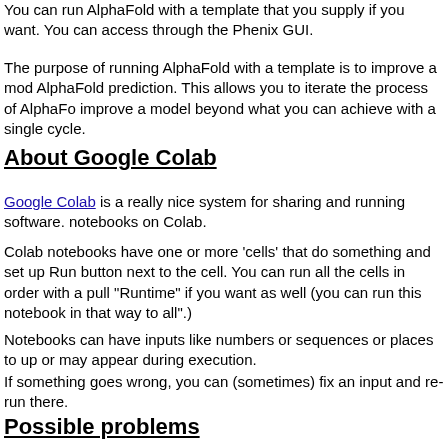You can run AlphaFold with a template that you supply if you want. You can access through the Phenix GUI.
The purpose of running AlphaFold with a template is to improve a model from an AlphaFold prediction. This allows you to iterate the process of AlphaFold and improve a model beyond what you can achieve with a single cycle.
About Google Colab
Google Colab is a really nice system for sharing and running software. AlphaFold notebooks on Colab.
Colab notebooks have one or more 'cells' that do something and set up the next cell. Run button next to the cell. You can run all the cells in order with a pull-down menu under "Runtime" if you want as well (you can run this notebook in that way too, choosing "run all".)
Notebooks can have inputs like numbers or sequences or places to upload files. These may or may appear during execution.
If something goes wrong, you can (sometimes) fix an input and re-run it from there.
You do have to pay a little attention to exactly what notebook you are running. Once shared, there can be many versions of a notebook (as for AlphaFold).
Possible problems